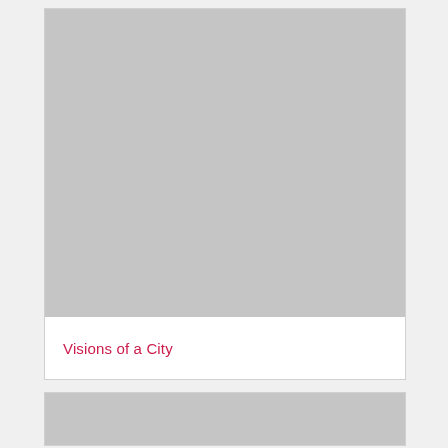[Figure (photo): Large gray placeholder image at top of card]
Visions of a City
[Figure (photo): Gray placeholder image at bottom, partially visible]